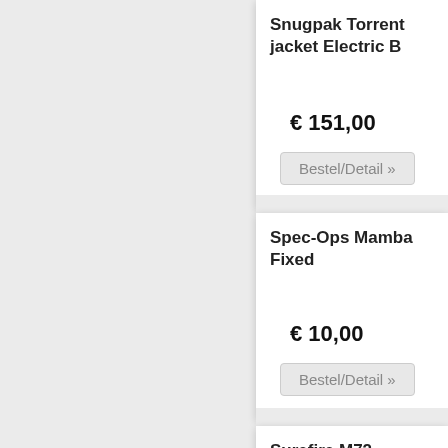Snugpak Torrent jacket Electric B
€ 151,00
Bestel/Detail »
Spec-Ops Mamba Fixed
€ 10,00
Bestel/Detail »
Surefire M72 Piccatinny Railsyste
€ 125,00